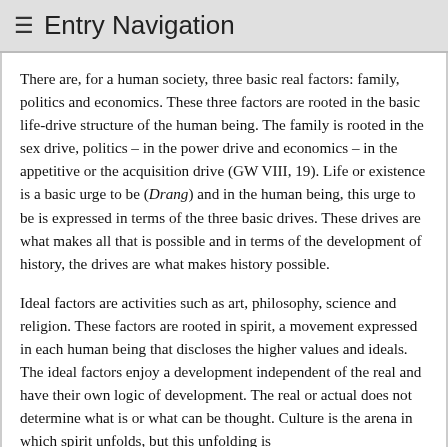≡ Entry Navigation
There are, for a human society, three basic real factors: family, politics and economics. These three factors are rooted in the basic life-drive structure of the human being. The family is rooted in the sex drive, politics – in the power drive and economics – in the appetitive or the acquisition drive (GW VIII, 19). Life or existence is a basic urge to be (Drang) and in the human being, this urge to be is expressed in terms of the three basic drives. These drives are what makes all that is possible and in terms of the development of history, the drives are what makes history possible.
Ideal factors are activities such as art, philosophy, science and religion. These factors are rooted in spirit, a movement expressed in each human being that discloses the higher values and ideals. The ideal factors enjoy a development independent of the real and have their own logic of development. The real or actual does not determine what is or what can be thought. Culture is the arena in which spirit unfolds, but this unfolding is